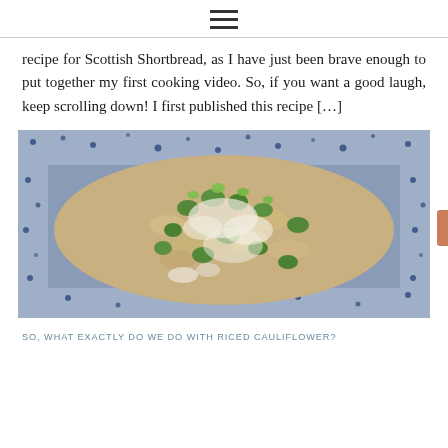≡
recipe for Scottish Shortbread, as I have just been brave enough to put together my first cooking video. So, if you want a good laugh, keep scrolling down! I first published this recipe […]
[Figure (photo): A bowl with a blue and white patterned rim filled with riced cauliflower mixed with green vegetables and grated cheese]
SO, WHAT EXACTLY DO WE DO WITH RICED CAULIFLOWER?